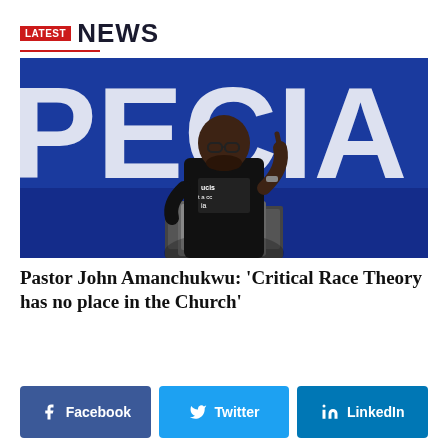LATEST NEWS
[Figure (photo): Pastor John Amanchukwu speaking at a podium with a laptop, wearing a black blazer and t-shirt, in front of a blue background with large white letters spelling PECIA]
Pastor John Amanchukwu: 'Critical Race Theory has no place in the Church'
Facebook | Twitter | LinkedIn